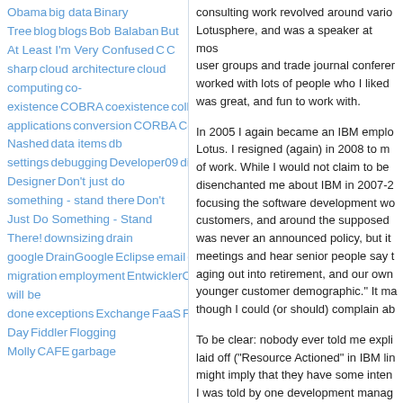Obama big data Binary Tree blog blogs Bob Balaban But At Least I'm Very Confused C C sharp cloud architecture cloud computing co-existence COBRA coexistence collaboration COM Composite applications conversion CORBA CouchBase CouchConf CouchDb CSS C# C++ Daniel Nashed data items db settings debugging Developer09 directory DNUG Dojo Domino Domino Designer Don't just do something - stand there Don't Just Do Something - Stand There! downsizing drain google DrainGoogle Eclipse email email migration employment EntwicklerCamp EntwicklerKamp errors Everything will be done exceptions Exchange FaaS Father's Day Fiddler Flogging Molly CAFE garbage
consulting work revolved around various Lotusphere, and was a speaker at most user groups and trade journal conferences. worked with lots of people who I liked was great, and fun to work with.
In 2005 I again became an IBM employee via Lotus. I resigned (again) in 2008 to move on. of work. While I would not claim to be disenchanted me about IBM in 2007-2008 was focusing the software development work customers, and around the supposed was never an announced policy, but it meetings and hear senior people say that aging out into retirement, and our own younger customer demographic." It ma though I could (or should) complain ab
To be clear: nobody ever told me explicitly that laid off ("Resource Actioned" in IBM lingo - might imply that they have some intentional plan I was told by one development manager hiring people in China made "huge business most of them studied at American universities